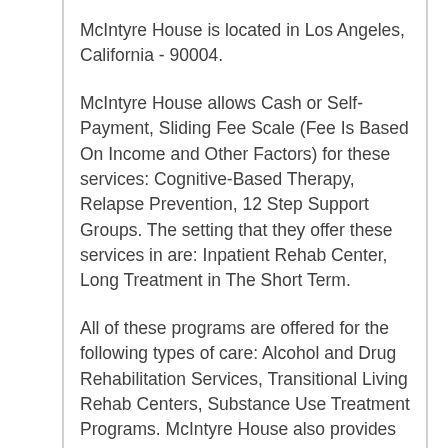McIntyre House is located in Los Angeles, California - 90004.
McIntyre House allows Cash or Self-Payment, Sliding Fee Scale (Fee Is Based On Income and Other Factors) for these services: Cognitive-Based Therapy, Relapse Prevention, 12 Step Support Groups. The setting that they offer these services in are: Inpatient Rehab Center, Long Treatment in The Short Term.
All of these programs are offered for the following types of care: Alcohol and Drug Rehabilitation Services, Transitional Living Rehab Centers, Substance Use Treatment Programs. McIntyre House also provides